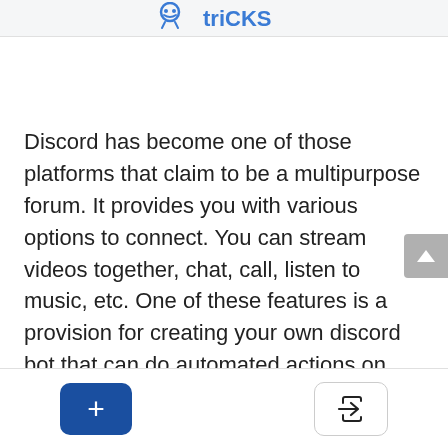[Discord logo / icon area]
Discord has become one of those platforms that claim to be a multipurpose forum. It provides you with various options to connect. You can stream videos together, chat, call, listen to music, etc. One of these features is a provision for creating your own discord bot that can do automated actions on your server. This feature allows you to modify your server however you want and enhance its efficiency. In this